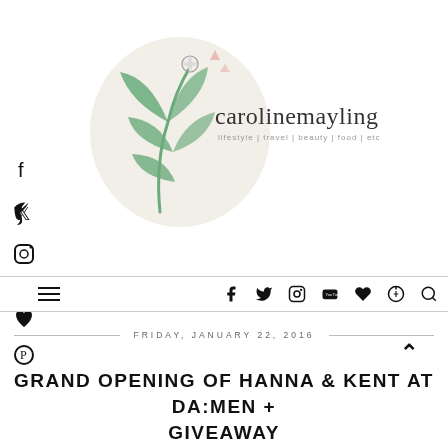[Figure (logo): carolinemayling.com blog logo with botanical illustration — green leaf branch and flower, text 'carolinemayling.com' with tagline 'lifestyle | travel | beauty | food | etc']
[Figure (infographic): Left sidebar with social media icons: Facebook, Twitter, Instagram, YouTube, heart/Bloglovin, Pinterest]
[Figure (infographic): Navigation bar with hamburger menu icon and social icons: Facebook, Twitter, Instagram, YouTube, heart, Pinterest, Search]
FRIDAY, JANUARY 22, 2016
GRAND OPENING OF HANNA & KENT AT DA:MEN + GIVEAWAY